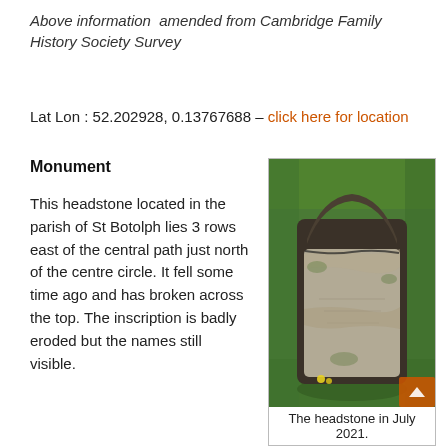Above information  amended from Cambridge Family History Society Survey
Lat Lon : 52.202928, 0.13767688 – click here for location
Monument
This headstone located in the parish of St Botolph lies 3 rows east of the central path just north of the centre circle. It fell some time ago and has broken across the top. The inscription is badly eroded but the names still visible.
[Figure (photo): A fallen, broken headstone lying flat on grass, with a worn and eroded surface. The stone is dark with weathering and surrounded by green grass. Photographed in July 2021.]
The headstone in July 2021.